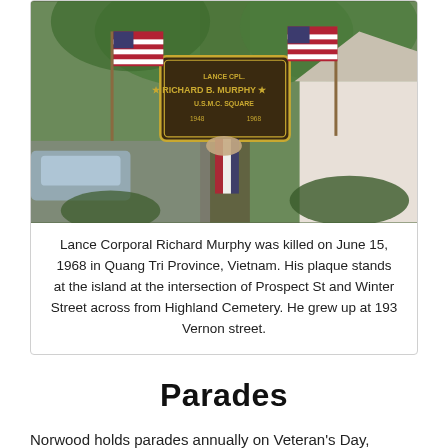[Figure (photo): Photograph of a memorial plaque for Lance Corporal Richard B. Murphy U.S.M.C. Square, 1948-1968, flanked by two American flags and red-white-blue ribbon, situated on a tree in a residential intersection.]
Lance Corporal Richard Murphy was killed on June 15, 1968 in Quang Tri Province, Vietnam. His plaque stands at the island at the intersection of Prospect St and Winter Street across from Highland Cemetery. He grew up at 193 Vernon street.
Parades
Norwood holds parades annually on Veteran's Day, Memorial Day and the Fourth of July and people